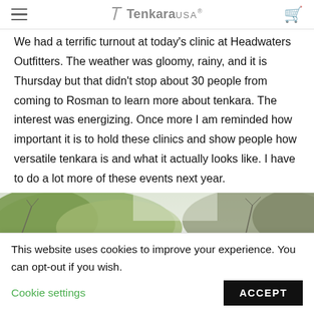Tenkara USA® — navigation bar with hamburger menu and cart icon
We had a terrific turnout at today's clinic at Headwaters Outfitters. The weather was gloomy, rainy, and it is Thursday but that didn't stop about 30 people from coming to Rosman to learn more about tenkara. The interest was energizing. Once more I am reminded how important it is to hold these clinics and show people how versatile tenkara is and what it actually looks like. I have to do a lot more of these events next year.
[Figure (photo): Outdoor photo showing trees with autumn foliage and overcast sky]
This website uses cookies to improve your experience. You can opt-out if you wish. Cookie settings ACCEPT